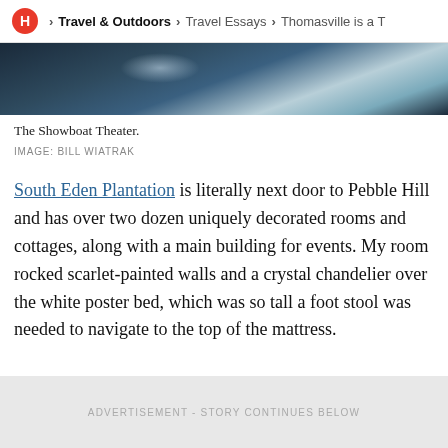H > Travel & Outdoors > Travel Essays > Thomasville is a T
[Figure (photo): Dark atmospheric photo of the Showboat Theater interior with dramatic lighting]
The Showboat Theater.
IMAGE: BILL WIATRAK
South Eden Plantation is literally next door to Pebble Hill and has over two dozen uniquely decorated rooms and cottages, along with a main building for events. My room rocked scarlet-painted walls and a crystal chandelier over the white poster bed, which was so tall a foot stool was needed to navigate to the top of the mattress.
ADVERTISEMENT - STORY CONTINUES BELOW